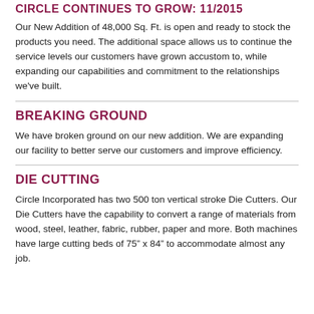CIRCLE CONTINUES TO GROW: 11/2015
Our New Addition of 48,000 Sq. Ft. is open and ready to stock the products you need.  The additional space allows us to continue the service levels our customers have grown accustom to, while expanding our capabilities and commitment to the relationships we've built.
BREAKING GROUND
We have broken ground on our new addition.  We are expanding our facility to better serve our customers and improve efficiency.
DIE CUTTING
Circle Incorporated has two 500 ton vertical stroke Die Cutters. Our Die Cutters have the capability to convert a range of materials from wood, steel, leather, fabric, rubber, paper and more. Both machines have large cutting beds of 75" x 84" to accommodate almost any job.